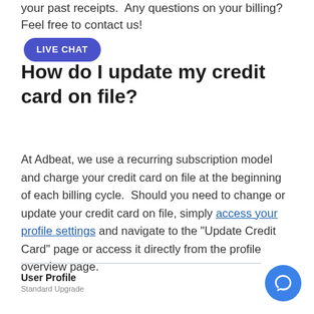your past receipts.  Any questions on your billing? Feel free to contact us!  LIVE CHAT
How do I update my credit card on file?
At Adbeat, we use a recurring subscription model and charge your credit card on file at the beginning of each billing cycle.  Should you need to change or update your credit card on file, simply access your profile settings and navigate to the “Update Credit Card” page or access it directly from the profile overview page.
User Profile
Standard Upgrade